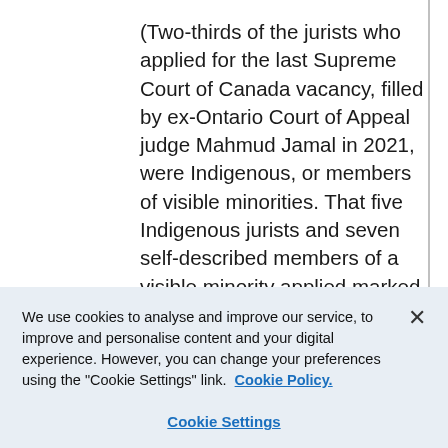(Two-thirds of the jurists who applied for the last Supreme Court of Canada vacancy, filled by ex-Ontario Court of Appeal judge Mahmud Jamal in 2021, were Indigenous, or members of visible minorities. That five Indigenous jurists and seven self-described members of a visible minority applied marked the first time, under the revised application process initiated by the Liberal government in 2016, that racialized
We use cookies to analyse and improve our service, to improve and personalise content and your digital experience. However, you can change your preferences using the "Cookie Settings" link.  Cookie Policy.
Cookie Settings